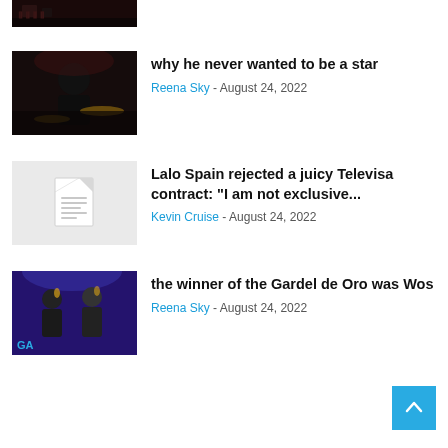[Figure (photo): Partial top image of musician with drums, cropped at top]
why he never wanted to be a star
Reena Sky - August 24, 2022
[Figure (other): Light gray placeholder image with document icon]
Lalo Spain rejected a juicy Televisa contract: "I am not exclusive...
Kevin Cruise - August 24, 2022
[Figure (photo): Award show photo with two performers holding trophies on stage, purple background with GA text]
the winner of the Gardel de Oro was Wos
Reena Sky - August 24, 2022